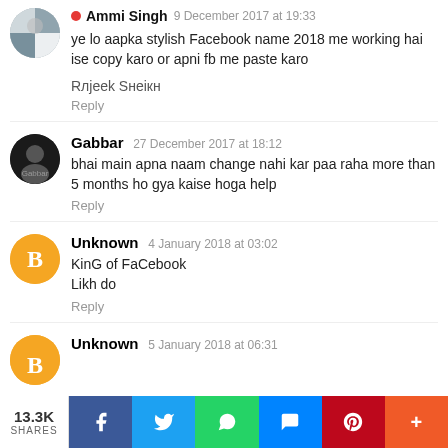Ammi Singh 9 December 2017 at 19:33
ye lo aapka stylish Facebook name 2018 me working hai
ise copy karo or apni fb me paste karo
Rлjeek Sнeікн
Reply
Gabbar 27 December 2017 at 18:12
bhai main apna naam change nahi kar paa raha more than 5 months ho gya kaise hoga help
Reply
Unknown 4 January 2018 at 03:02
KinG of FaCebook
Likh do
Reply
Unknown 5 January 2018 at 06:31
13.3K SHARES